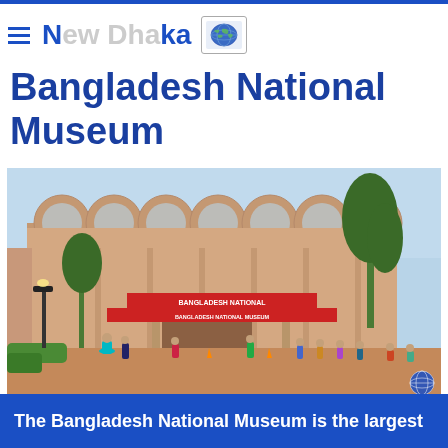New Dhaka [globe icon]
Bangladesh National Museum
[Figure (photo): Exterior view of the Bangladesh National Museum building in Dhaka. The building shows a modernist architectural style with large circular arch details along the roofline, concrete pillars, and a prominent red entrance sign reading 'BANGLADESH NATIONAL'. Many visitors are seen in the foreground plaza area. Trees visible on both sides.]
The Bangladesh National Museum is the largest